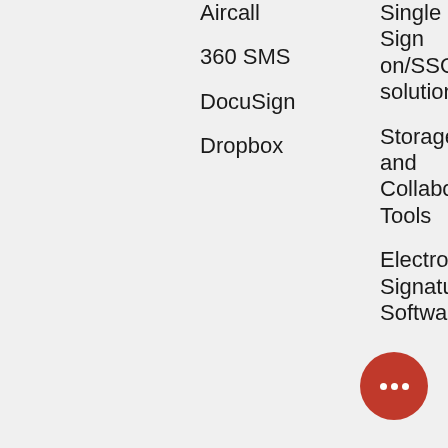Aircall
360 SMS
DocuSign
Dropbox
Single Sign on/SSO solutions
Storage and Collaboration Tools
Electronic Signature Software